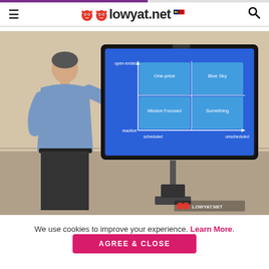lowyat.net
[Figure (photo): Man in blue shirt pointing at a large TV screen mounted on a stand. The screen shows a 2x2 matrix diagram on blue background with labels 'open-ended', 'reactive', 'scheduled', 'unscheduled' axes and four quadrants. A lowyat.net watermark is in the bottom right corner.]
We use cookies to improve your experience. Learn More.
AGREE & CLOSE